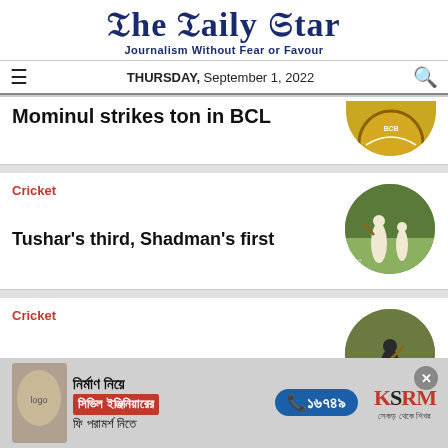The Daily Star
Journalism Without Fear or Favour
THURSDAY, September 1, 2022
Mominul strikes ton in BCL
Cricket
Tushar's third, Shadman's first
Cricket
[Figure (photo): Bangladesh Cricket Board logo (partial circle)]
[Figure (photo): Cricket match photo in circular frame — batsman playing a shot with fielders]
[Figure (photo): Cricket player batting, circular thumbnail (partially visible)]
[Figure (other): Advertisement banner: KSRM civil engineering consultation — Bengali text, phone number 16749]